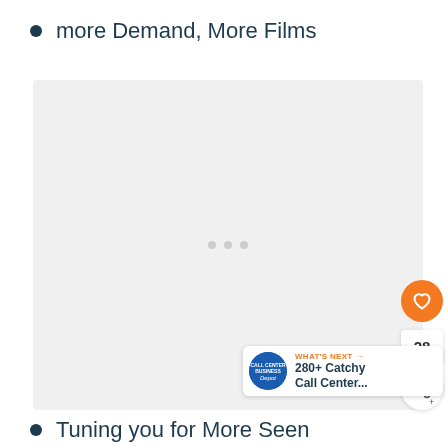more Demand, More Films
[Figure (other): A light gray placeholder image box with three small gray dots in the center, with a heart/like button (orange), a like count of 28, a share button, and a 'What's Next' banner showing '280+ Catchy Call Center...' in the bottom right corner.]
Tuning you for More Seen